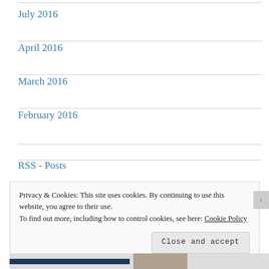July 2016
April 2016
March 2016
February 2016
RSS - Posts
Privacy & Cookies: This site uses cookies. By continuing to use this website, you agree to their use.
To find out more, including how to control cookies, see here: Cookie Policy
Close and accept